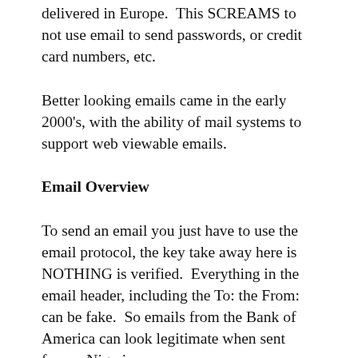delivered in Europe.  This SCREAMS to not use email to send passwords, or credit card numbers, etc.
Better looking emails came in the early 2000's, with the ability of mail systems to support web viewable emails.
Email Overview
To send an email you just have to use the email protocol, the key take away here is NOTHING is verified.  Everything in the email header, including the To: the From: can be fake.  So emails from the Bank of America can look legitimate when sent from a Nigerian spammer.